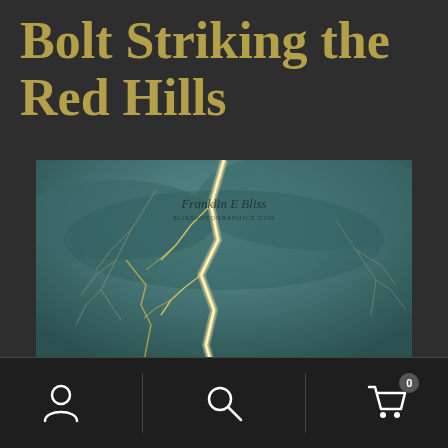Bolt Striking the Red Hills
[Figure (photo): A photograph of a lightning bolt striking during a storm, with a teal-gray stormy sky background. A bright yellow-white lightning bolt strikes diagonally from top center to bottom right, with multiple branching bolts visible. A watermark reads 'Franklin E Bliss' with 'blisshotographics.com' below it.]
[Figure (other): Bottom navigation bar with three icons: a person/user icon on the left, a search magnifying glass icon in the center, and a shopping cart icon with badge showing 0 on the right. Separated by vertical dividers.]